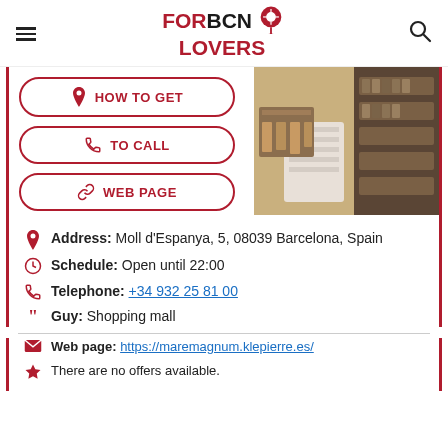[Figure (logo): ForBCN Lovers logo with pin icon]
[Figure (photo): Interior of a shopping mall store with wooden shelves and products]
HOW TO GET
TO CALL
WEB PAGE
Address: Moll d'Espanya, 5, 08039 Barcelona, Spain
Schedule: Open until 22:00
Telephone: +34 932 25 81 00
Guy: Shopping mall
Web page: https://maremagnum.klepierre.es/
There are no offers available.